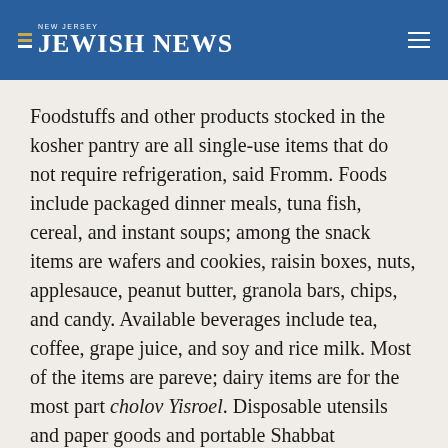NEW JERSEY JEWISH NEWS
Foodstuffs and other products stocked in the kosher pantry are all single-use items that do not require refrigeration, said Fromm. Foods include packaged dinner meals, tuna fish, cereal, and instant soups; among the snack items are wafers and cookies, raisin boxes, nuts, applesauce, peanut butter, granola bars, chips, and candy. Available beverages include tea, coffee, grape juice, and soy and rice milk. Most of the items are pareve; dairy items are for the most part cholov Yisroel. Disposable utensils and paper goods and portable Shabbat candlesticks are also provided.
Zylberberg said all items are identified with